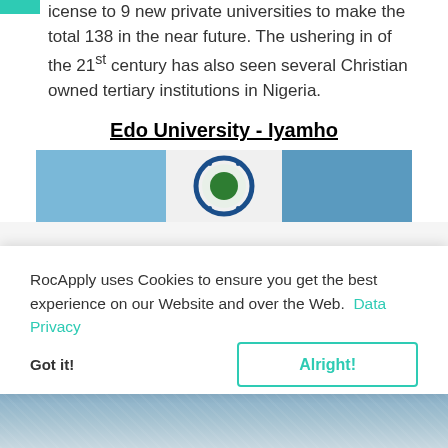icense to 9 new private universities to make the total 138 in the near future. The ushering in of the 21st century has also seen several Christian owned tertiary institutions in Nigeria.
Edo University - Iyamho
[Figure (photo): Photo of Edo University Iyamho showing a circular university seal/crest against a blue sky background with white and blue banners]
RocApply uses Cookies to ensure you get the best experience on our Website and over the Web.  Data Privacy
Got it!    Alright!
[Figure (photo): Partial photo visible at the bottom of the page, appears to be a landscape or campus image in grey-blue tones]